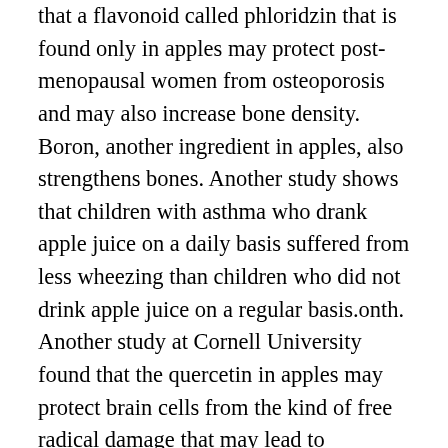that a flavonoid called phloridzin that is found only in apples may protect post-menopausal women from osteoporosis and may also increase bone density. Boron, another ingredient in apples, also strengthens bones. Another study shows that children with asthma who drank apple juice on a daily basis suffered from less wheezing than children who did not drink apple juice on a regular basis.onth. Another study at Cornell University found that the quercetin in apples may protect brain cells from the kind of free radical damage that may lead to Alzheimer’s disease.  When we eat apples we can lower LDL (“bad”) cholesterol. Studies have shown that people who eat two apples per day may lower their cholesterol by as much as 16 percent.